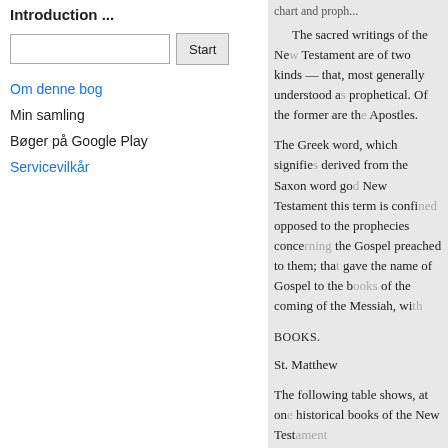Introduction ...
Om denne bog
Min samling
Bøger på Google Play
Servicevilkår
The sacred writings of the New Testament are of two kinds — that, most generally understood as historical, and such as are prophetical. Of the former are the Gospels and the Acts of the Apostles.
The Greek word, which signifies glad tidings, or good news, is derived from the Saxon word god, signifying good. Throughout the New Testament this term is confined to the oral preaching, as opposed to the prophecies concerning the Messiah, and to the Gospel preached to them; that is, to the books which gave the name of Gospel to the books which contain the history of the coming of the Messiah, with his doctrines and miracles.
BOOKS.
St. Matthew
The following table shows, at one view, the authors of the historical books of the New Testament
Judea, or near it